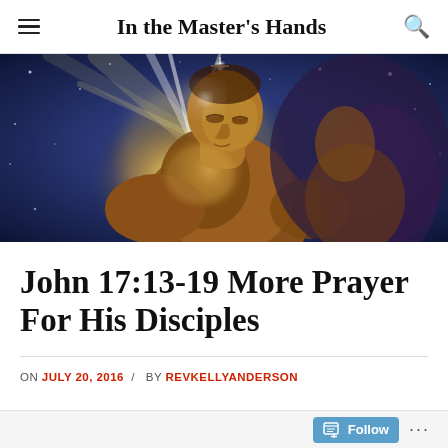In the Master's Hands
[Figure (illustration): A painting-style illustration of a figure (person) with glowing golden light radiating from the chest/body area, set against a dark blue cosmic/starry background with warm amber and golden tones.]
John 17:13-19 More Prayer For His Disciples
ON JULY 20, 2016 / BY REVKELLYANDERSON